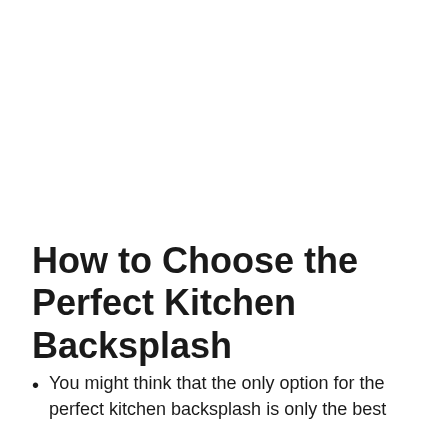How to Choose the Perfect Kitchen Backsplash
You might think that the only option for the perfect kitchen backsplash is only the best